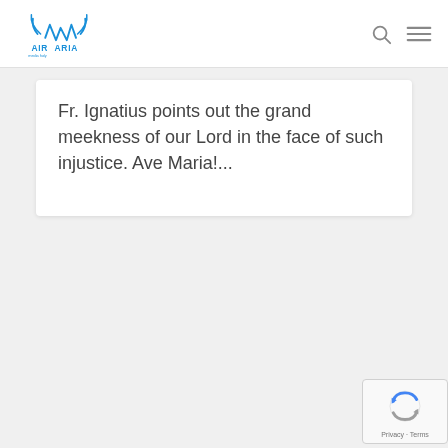Ave Maria Radio
Fr. Ignatius points out the grand meekness of our Lord in the face of such injustice. Ave Maria!...
[Figure (logo): reCAPTCHA badge with spinning arrows logo and Privacy - Terms text]